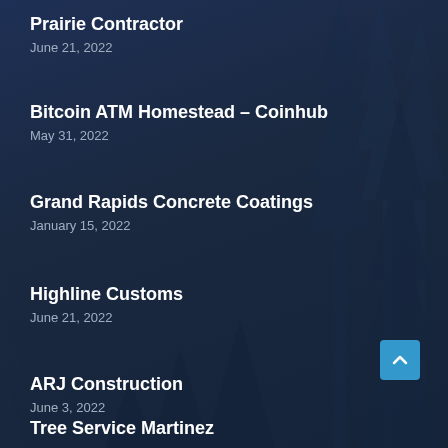[Figure (illustration): Dark navy blue background with silhouetted pine/fir trees creating a forest scene]
Prairie Contractor
June 21, 2022
Bitcoin ATM Homestead – Coinhub
May 31, 2022
Grand Rapids Concrete Coatings
January 15, 2022
Highline Customs
June 21, 2022
ARJ Construction
June 3, 2022
Tree Service Martinez